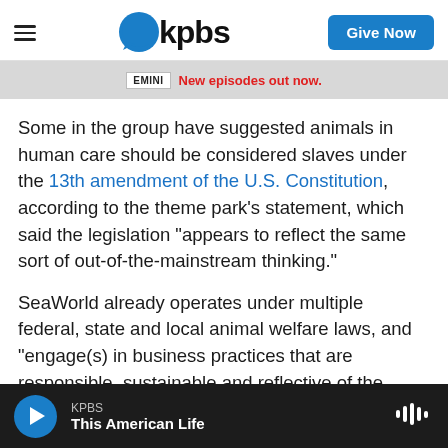KPBS
[Figure (screenshot): Ad banner with EMINI logo and text 'New episodes out now.' in red]
Some in the group have suggested animals in human care should be considered slaves under the 13th amendment of the U.S. Constitution, according to the theme park's statement, which said the legislation "appears to reflect the same sort of out-of-the-mainstream thinking."
SeaWorld already operates under multiple federal, state and local animal welfare laws, and "engage(s) in business practices that are responsible, sustainable and reflective of the balanced values all Americans share," according to its statement.
KPBS
This American Life